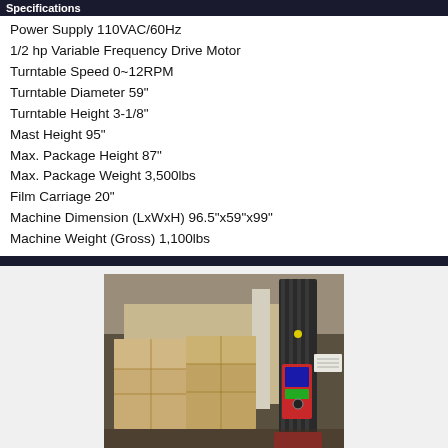Specifications
Power Supply 110VAC/60Hz
1/2 hp Variable Frequency Drive Motor
Turntable Speed 0~12RPM
Turntable Diameter 59"
Turntable Height 3-1/8"
Mast Height 95"
Max. Package Height 87"
Max. Package Weight 3,500lbs
Film Carriage 20"
Machine Dimension (LxWxH) 96.5"x59"x99"
Machine Weight (Gross) 1,100lbs
[Figure (photo): Photograph of a pallet stretch wrapping machine (mast with red and black components, control panel) next to wrapped pallets of boxed goods in a warehouse setting.]